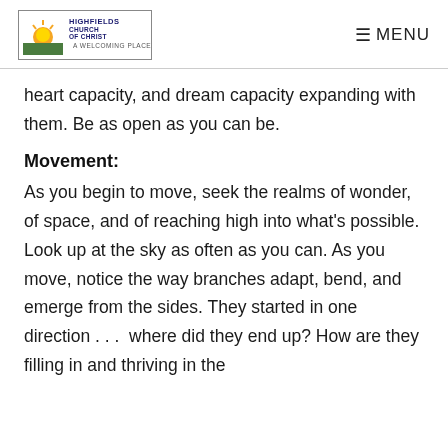Highfields Church of Christ — A Welcoming Place | MENU
heart capacity, and dream capacity expanding with them. Be as open as you can be.
Movement:
As you begin to move, seek the realms of wonder, of space, and of reaching high into what's possible. Look up at the sky as often as you can. As you move, notice the way branches adapt, bend, and emerge from the sides. They started in one direction . . .  where did they end up? How are they filling in and thriving in the